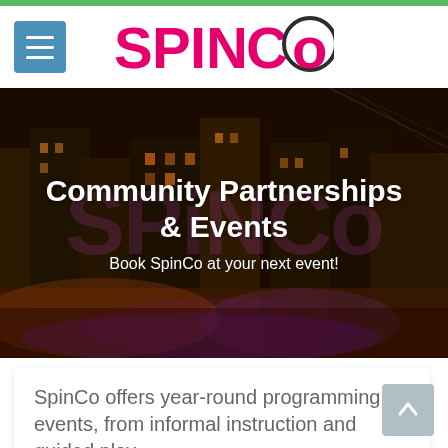[Figure (logo): SpinCo logo with pink/magenta text 'SPINCO' and circular O element]
[Figure (photo): Night cityscape hero image with urban street scene, warm orange lighting, overlaid with large semi-transparent SpinCo watermark logo in purple]
Community Partnerships & Events
Book SpinCo at your next event!
SpinCo offers year-round programming for events, from informal instruction and guided play